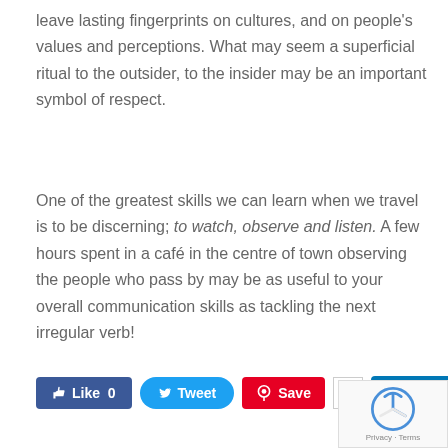leave lasting fingerprints on cultures, and on people's values and perceptions. What may seem a superficial ritual to the outsider, to the insider may be an important symbol of respect.
One of the greatest skills we can learn when we travel is to be discerning; to watch, observe and listen. A few hours spent in a café in the centre of town observing the people who pass by may be as useful to your overall communication skills as tackling the next irregular verb!
[Figure (infographic): Social media sharing buttons: Like 0 (Facebook), Tweet (Twitter), Save (Pinterest), 0 Share (LinkedIn), and a reCAPTCHA widget]